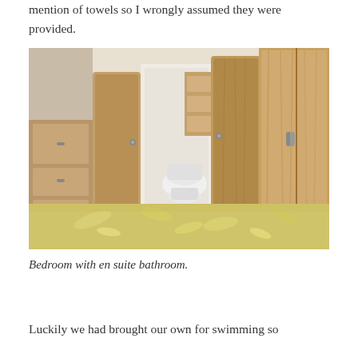mention of towels so I wrongly assumed they were provided.
[Figure (photo): Bedroom interior showing wood-panelled wardrobes and an en suite bathroom with toilet visible through an open door, with a yellow bedspread in the foreground.]
Bedroom with en suite bathroom.
Luckily we had brought our own for swimming so